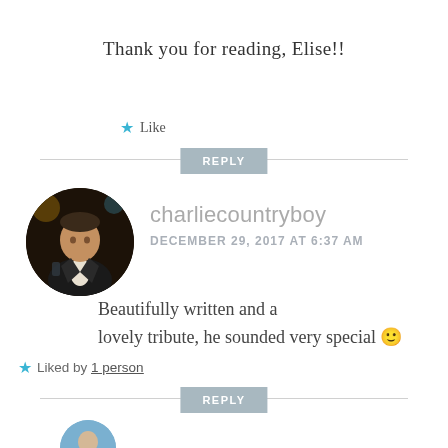Thank you for reading, Elise!!
★ Like
REPLY
[Figure (photo): Circular avatar photo of a man in a dark suit and white shirt, in a dimly lit setting]
charliecountryboy
DECEMBER 29, 2017 AT 6:37 AM
Beautifully written and a lovely tribute, he sounded very special 🙂
★ Liked by 1 person
REPLY
[Figure (photo): Partial circular avatar at bottom of page]